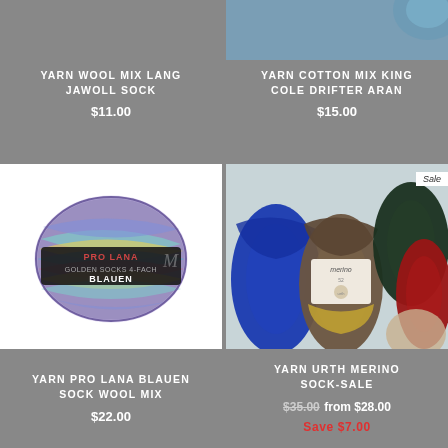[Figure (photo): Yarn wool mix Lang Jawoll Sock product image (cropped at top)]
YARN WOOL MIX LANG JAWOLL SOCK
$11.00
[Figure (photo): Yarn cotton mix King Cole Drifter Aran product image (cropped at top)]
YARN COTTON MIX KING COLE DRIFTER ARAN
$15.00
[Figure (photo): Pro Lana Golden Socks Blauen yarn ball with label]
YARN PRO LANA BLAUEN SOCK WOOL MIX
$22.00
[Figure (photo): Multiple skeins of Urth Merino Sock yarn in various colors with Sale badge]
YARN URTH MERINO SOCK-SALE
$35.00 from $28.00
Save $7.00